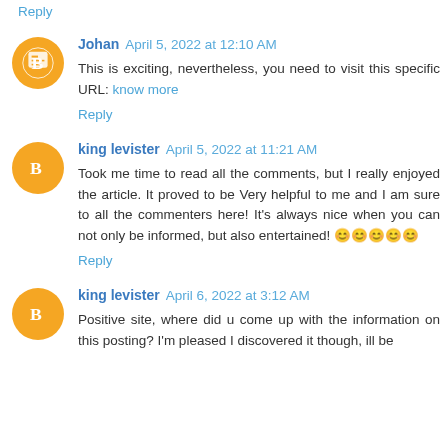Reply
Johan  April 5, 2022 at 12:10 AM
This is exciting, nevertheless, you need to visit this specific URL: know more
Reply
king levister  April 5, 2022 at 11:21 AM
Took me time to read all the comments, but I really enjoyed the article. It proved to be Very helpful to me and I am sure to all the commenters here! It's always nice when you can not only be informed, but also entertained! 😊😊😊😊😊
Reply
king levister  April 6, 2022 at 3:12 AM
Positive site, where did u come up with the information on this posting? I'm pleased I discovered it though, ill be